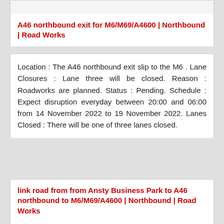A46 northbound exit for M6/M69/A4600 | Northbound | Road Works
Location : The A46 northbound exit slip to the M6 . Lane Closures : Lane three will be closed. Reason : Roadworks are planned. Status : Pending. Schedule : Expect disruption everyday between 20:00 and 06:00 from 14 November 2022 to 19 November 2022. Lanes Closed : There will be one of three lanes closed.
link road from from Ansty Business Park to A46 northbound to M6/M69/A4600 | Northbound | Road Works